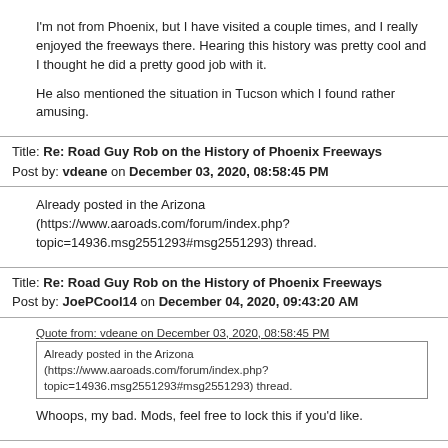I'm not from Phoenix, but I have visited a couple times, and I really enjoyed the freeways there. Hearing this history was pretty cool and I thought he did a pretty good job with it.
He also mentioned the situation in Tucson which I found rather amusing.
Title: Re: Road Guy Rob on the History of Phoenix Freeways Post by: vdeane on December 03, 2020, 08:58:45 PM
Already posted in the Arizona (https://www.aaroads.com/forum/index.php?topic=14936.msg2551293#msg2551293) thread.
Title: Re: Road Guy Rob on the History of Phoenix Freeways Post by: JoePCool14 on December 04, 2020, 09:43:20 AM
Quote from: vdeane on December 03, 2020, 08:58:45 PM
Already posted in the Arizona (https://www.aaroads.com/forum/index.php?topic=14936.msg2551293#msg2551293) thread.
Whoops, my bad. Mods, feel free to lock this if you'd like.
Title: Re: Road Guy Rob on the History of Phoenix Freeways